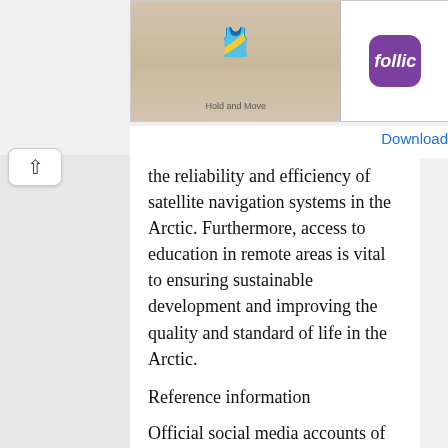[Figure (screenshot): Mobile ad banner showing a game app (Hold and Move) with Follic app icon and Download button]
the reliability and efficiency of satellite navigation systems in the Arctic. Furthermore, access to education in remote areas is vital to ensuring sustainable development and improving the quality and standard of life in the Arctic.
Reference information
Official social media accounts of Russia's chairmanship in the Arctic Council:
VKontakte: vk.com/arctic_on